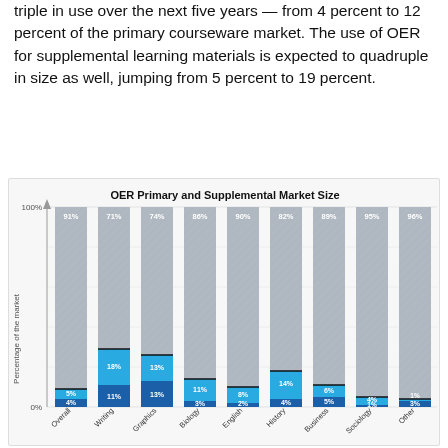triple in use over the next five years — from 4 percent to 12 percent of the primary courseware market. The use of OER for supplemental learning materials is expected to quadruple in size as well, jumping from 5 percent to 19 percent.
[Figure (stacked-bar-chart): OER Primary and Supplemental Market Size]